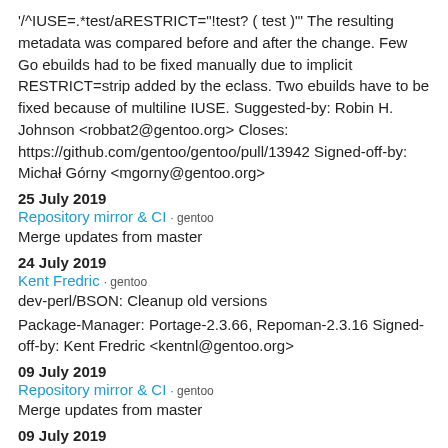'/^IUSE=.*test/aRESTRICT="!test? ( test )"' The resulting metadata was compared before and after the change. Few Go ebuilds had to be fixed manually due to implicit RESTRICT=strip added by the eclass. Two ebuilds have to be fixed because of multiline IUSE. Suggested-by: Robin H. Johnson <robbat2@gentoo.org> Closes: https://github.com/gentoo/gentoo/pull/13942 Signed-off-by: Michał Górny <mgorny@gentoo.org>
25 July 2019
Repository mirror & CI · gentoo
Merge updates from master
24 July 2019
Kent Fredric · gentoo
dev-perl/BSON: Cleanup old versions
Package-Manager: Portage-2.3.66, Repoman-2.3.16 Signed-off-by: Kent Fredric <kentnl@gentoo.org>
09 July 2019
Repository mirror & CI · gentoo
Merge updates from master
09 July 2019
Kent Fredric · gentoo
dev-perl/BSON: Bump to version 1.10.2 re bug #667328